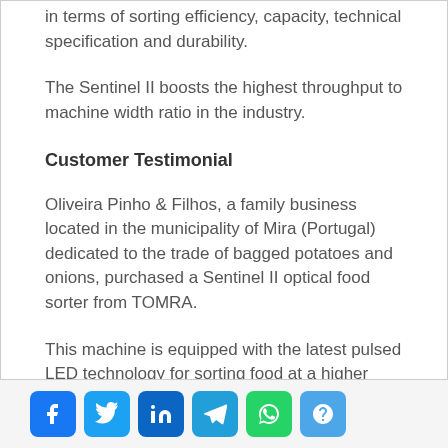in terms of sorting efficiency, capacity, technical specification and durability.
The Sentinel II boosts the highest throughput to machine width ratio in the industry.
Customer Testimonial
Oliveira Pinho & Filhos, a family business located in the municipality of Mira (Portugal) dedicated to the trade of bagged potatoes and onions, purchased a Sentinel II optical food sorter from TOMRA.
This machine is equipped with the latest pulsed LED technology for sorting food at a higher speed than earlier models.
[Figure (infographic): Social media share buttons: Facebook, Twitter, LinkedIn, Telegram, WhatsApp, and a question/share icon]